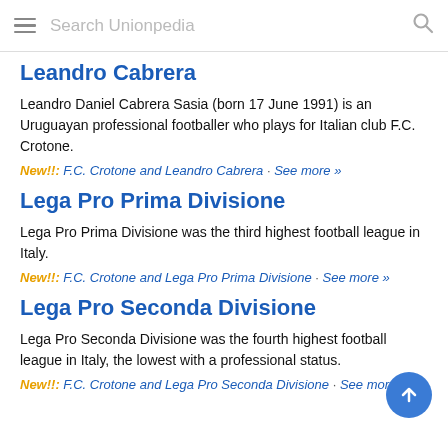Search Unionpedia
Leandro Cabrera
Leandro Daniel Cabrera Sasia (born 17 June 1991) is an Uruguayan professional footballer who plays for Italian club F.C. Crotone.
New!!: F.C. Crotone and Leandro Cabrera · See more »
Lega Pro Prima Divisione
Lega Pro Prima Divisione was the third highest football league in Italy.
New!!: F.C. Crotone and Lega Pro Prima Divisione · See more »
Lega Pro Seconda Divisione
Lega Pro Seconda Divisione was the fourth highest football league in Italy, the lowest with a professional status.
New!!: F.C. Crotone and Lega Pro Seconda Divisione · See more »